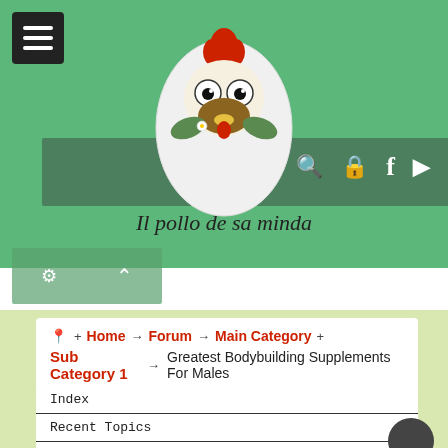[Figure (illustration): Cartoon rooster/chicken face inside an egg shape logo for 'Il pollo de sa minda' website]
Il pollo de sa minda
Home → Forum → Main Category → Sub Category 1 → Greatest Bodybuilding Supplements For Males
Index
Recent Topics
Search